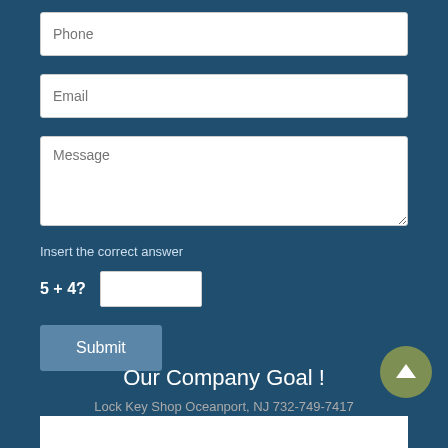Phone
Email
Message
Insert the correct answer
5 + 4?
Submit
Our Company Goal !
[Figure (other): Lock Key Shop Oceanport, NJ 732-749-7417 logo image]